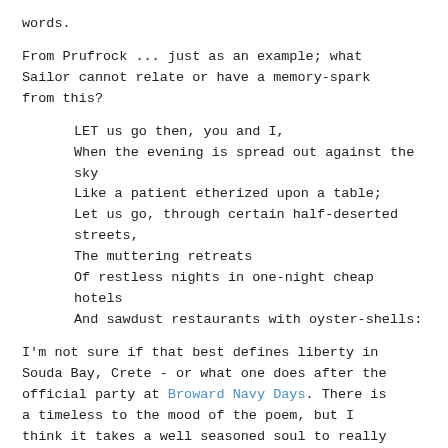words.
From Prufrock ... just as an example; what Sailor cannot relate or have a memory-spark from this?
LET us go then, you and I,
When the evening is spread out against the sky
Like a patient etherized upon a table;
Let us go, through certain half-deserted streets,
The muttering retreats
Of restless nights in one-night cheap hotels
And sawdust restaurants with oyster-shells:
I'm not sure if that best defines liberty in Souda Bay, Crete - or what one does after the official party at Broward Navy Days. There is a timeless to the mood of the poem, but I think it takes a well seasoned soul to really get its meaning. Not a concept a 17-yr old male can quite grasp, but with life's experience - it comes clearer ... but I